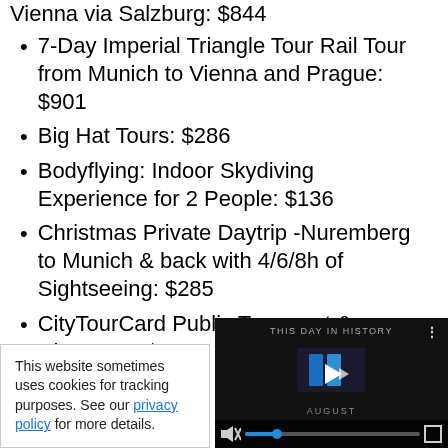Vienna via Salzburg: $844
7-Day Imperial Triangle Tour Rail Tour from Munich to Vienna and Prague: $901
Big Hat Tours: $286
Bodyflying: Indoor Skydiving Experience for 2 People: $136
Christmas Private Daytrip -Nuremberg to Munich & back with 4/6/8h of Sightseeing: $285
CityTourCard Public Transport & Discounts: $16
Dachau Conce…
Dachau Memo…
This website sometimes uses cookies for tracking purposes. See our privacy policy for more details.
[Figure (screenshot): Video player overlay showing 'This Day in History' with a blue play button logo, mute icon, progress bar, and fullscreen icon on a dark background.]